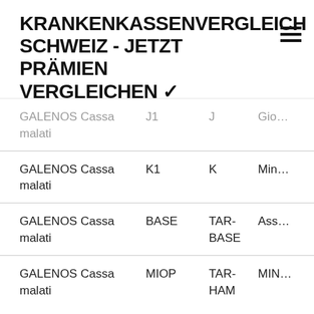KRANKENKASSENVERGLEICH SCHWEIZ - JETZT PRÄMIEN VERGLEICHEN ✓
| Provider | Plan | Tariff | Type |
| --- | --- | --- | --- |
| GALENOS Cassa malati | J1 | J | Gio… |
| GALENOS Cassa malati | K1 | K | Min… |
| GALENOS Cassa malati | BASE | TAR-BASE | Ass… |
| GALENOS Cassa malati | MIOP | TAR-HAM | MIN… |